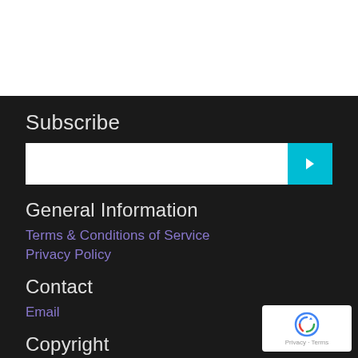Subscribe
[Figure (other): Email subscribe input bar with white text field and teal submit button with right arrow icon]
General Information
Terms & Conditions of Service
Privacy Policy
Contact
Email
Copyright
[Figure (logo): reCAPTCHA badge with logo and Privacy · Terms text]